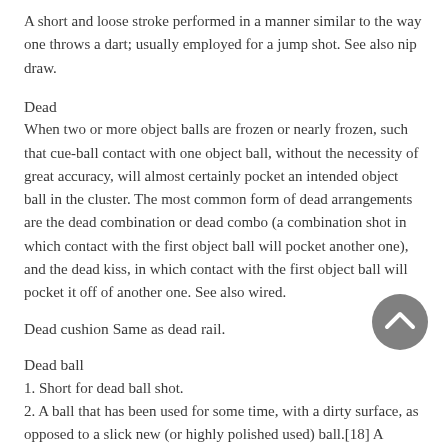A short and loose stroke performed in a manner similar to the way one throws a dart; usually employed for a jump shot. See also nip draw.
Dead
When two or more object balls are frozen or nearly frozen, such that cue-ball contact with one object ball, without the necessity of great accuracy, will almost certainly pocket an intended object ball in the cluster. The most common form of dead arrangements are the dead combination or dead combo (a combination shot in which contact with the first object ball will pocket another one), and the dead kiss, in which contact with the first object ball will pocket it off of another one. See also wired.
Dead cushion Same as dead rail.
Dead ball
1. Short for dead ball shot.
2. A ball that has been used for some time, with a dirty surface, as opposed to a slick new (or highly polished used) ball.[18] A